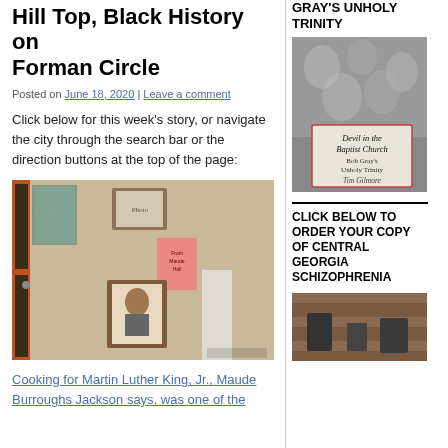Hill Top, Black History on Forman Circle
Posted on June 18, 2020 | Leave a comment
Click below for this week's story, or navigate the city through the search bar or the direction buttons at the top of the page:
[Figure (photo): Interior wall of a building showing framed photographs and documents, including a portrait photo, a pink notice, and a framed picture, next to an old wooden door with orange trim.]
Cooking for Martin Luther King, Jr., Maude Burroughs Jackson says, was one of the
GRAY'S UNHOLY TRINITY
[Figure (photo): Book cover: Devil in the Baptist Church — Bob Gray's Unholy Trinity by Tim Gilmore. Black and white crowd scene with book title overlay.]
CLICK BELOW TO ORDER YOUR COPY OF CENTRAL GEORGIA SCHIZOPHRENIA
[Figure (photo): Book cover showing a brick building exterior — bottom portion visible.]